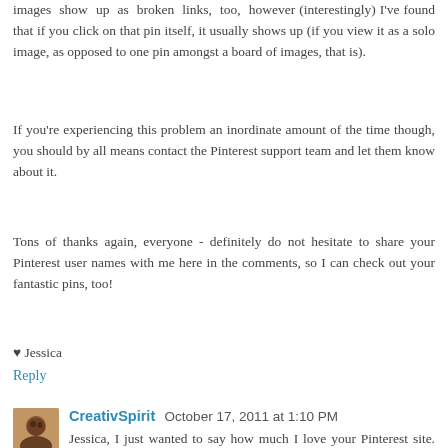images show up as broken links, too, however (interestingly) I've found that if you click on that pin itself, it usually shows up (if you view it as a solo image, as opposed to one pin amongst a board of images, that is).
If you're experiencing this problem an inordinate amount of the time though, you should by all means contact the Pinterest support team and let them know about it.
Tons of thanks again, everyone - definitely do not hesitate to share your Pinterest user names with me here in the comments, so I can check out your fantastic pins, too!
♥ Jessica
Reply
CreativSpirit October 17, 2011 at 1:10 PM
Jessica, I just wanted to say how much I love your Pinterest site. Your images are all so gorgeous as is this wonderful blog, what are we ever going to do when the 365 days are